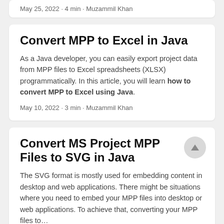May 25, 2022 · 4 min · Muzammil Khan
Convert MPP to Excel in Java
As a Java developer, you can easily export project data from MPP files to Excel spreadsheets (XLSX) programmatically. In this article, you will learn how to convert MPP to Excel using Java.
May 10, 2022 · 3 min · Muzammil Khan
Convert MS Project MPP Files to SVG in Java
The SVG format is mostly used for embedding content in desktop and web applications. There might be situations where you need to embed your MPP files into desktop or web applications. To achieve that, converting your MPP files to…